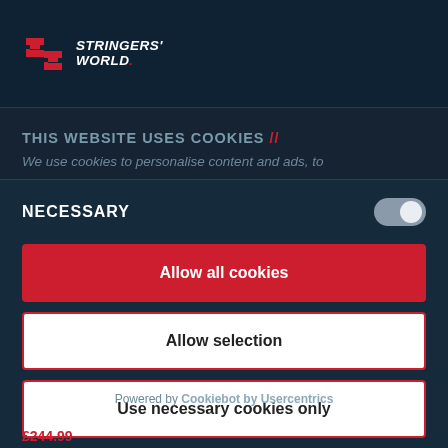[Figure (logo): Stringers' World logo with red S-shaped icon and white italic text]
THIS WEBSITE USES COOKIES //
We use cookies to personalise content and ads, to
NECESSARY
Allow all cookies
Allow selection
Use necessary cookies only
Powered by Cookiebot by Usercentrics
£244.99